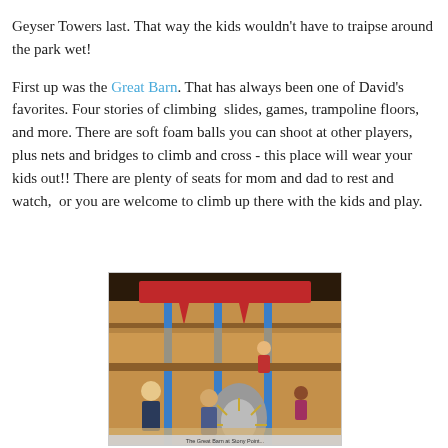Geyser Towers last.  That way the kids wouldn't have to traipse around the park wet!
First up was the Great Barn.  That has always been one of David's favorites.  Four stories of climbing  slides, games, trampoline floors, and more.  There are soft foam balls you can shoot at other players, plus nets and bridges to climb and cross - this place will wear your kids out!! There are plenty of seats for mom and dad to rest and watch,  or you are welcome to climb up there with the kids and play.
[Figure (photo): Interior of the Great Barn, a multi-story indoor play structure with wooden beams, red slides, blue poles, foam elements, and children playing. Caption text partially visible at bottom.]